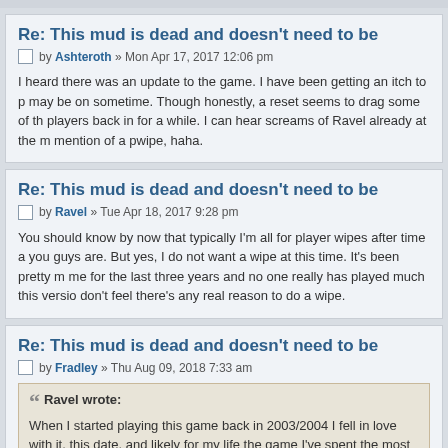Re: This mud is dead and doesn't need to be
by Ashteroth » Mon Apr 17, 2017 12:06 pm
I heard there was an update to the game. I have been getting an itch to p may be on sometime. Though honestly, a reset seems to drag some of the players back in for a while. I can hear screams of Ravel already at the mention of a pwipe, haha.
Re: This mud is dead and doesn't need to be
by Ravel » Tue Apr 18, 2017 9:28 pm
You should know by now that typically I'm all for player wipes after time a you guys are. But yes, I do not want a wipe at this time. It's been pretty m me for the last three years and no one really has played much this versio don't feel there's any real reason to do a wipe.
Re: This mud is dead and doesn't need to be
by Fradley » Thu Aug 09, 2018 7:33 am
Ravel wrote: When I started playing this game back in 2003/2004 I fell in love with it. this date, and likely for my life the game I've spent the most time playing. remember when the game flourished, it had players day and night ever